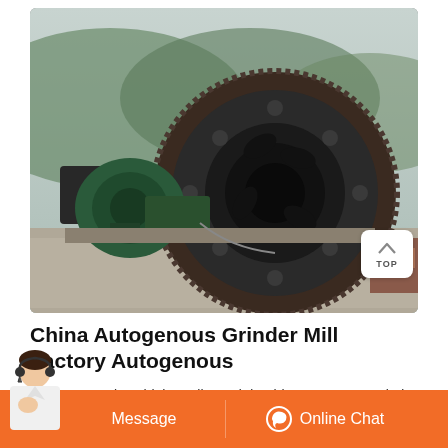[Figure (photo): Outdoor industrial photograph of a large autogenous grinder mill with a prominent circular gear ring and cylindrical drum body, alongside green motor/drive machinery on a concrete platform, with forested hills in the background.]
China Autogenous Grinder Mill Factory Autogenous
There are various high quality and durable autogenous grinder mill re in our factory. As one of Chinas leading mechanical equipment